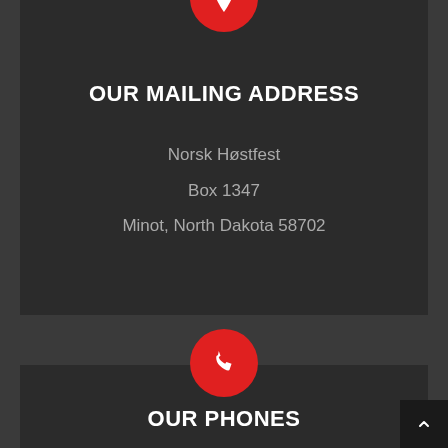[Figure (illustration): Red circle with white location pin icon, positioned at the top center of the mailing address card]
OUR MAILING ADDRESS
Norsk Høstfest
Box 1347
Minot, North Dakota 58702
[Figure (illustration): Red circle with white phone handset icon, positioned at the top center of the phones card]
OUR PHONES